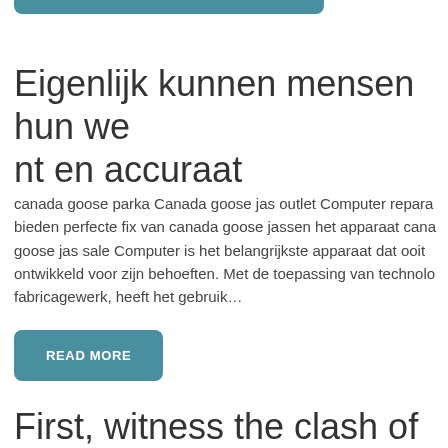[Figure (other): Teal/blue rounded rectangle button (partially visible at top of page)]
Eigenlijk kunnen mensen hun we nt en accuraat
canada goose parka Canada goose jas outlet Computer repara bieden perfecte fix van canada goose jassen het apparaat cana goose jas sale Computer is het belangrijkste apparaat dat ooit ontwikkeld voor zijn behoeften. Met de toepassing van technolo fabricagewerk, heeft het gebruik…
[Figure (other): Teal READ MORE button]
First, witness the clash of two tita